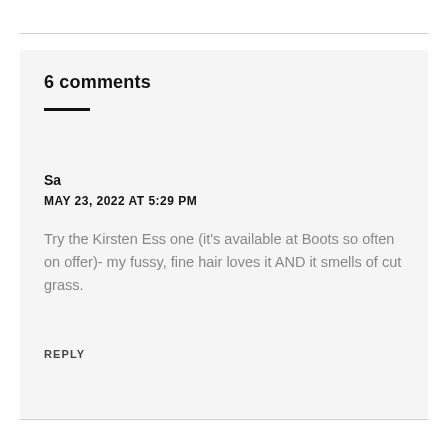6 comments
Sa
MAY 23, 2022 AT 5:29 PM
Try the Kirsten Ess one (it's available at Boots so often on offer)- my fussy, fine hair loves it AND it smells of cut grass.
REPLY